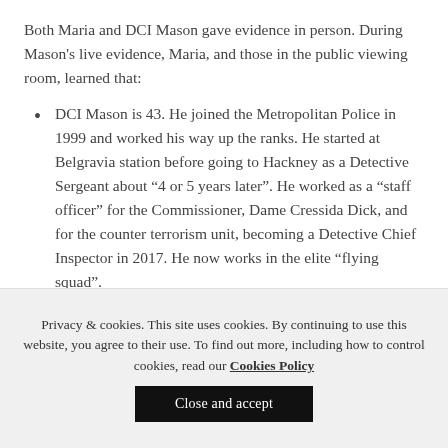Both Maria and DCI Mason gave evidence in person. During Mason's live evidence, Maria, and those in the public viewing room, learned that:
DCI Mason is 43. He joined the Metropolitan Police in 1999 and worked his way up the ranks. He started at Belgravia station before going to Hackney as a Detective Sergeant about “4 or 5 years later”. He worked as a “staff officer” for the Commissioner, Dame Cressida Dick, and for the counter terrorism unit, becoming a Detective Chief Inspector in 2017. He now works in the elite “flying squad”.
Privacy & cookies. This site uses cookies. By continuing to use this website, you agree to their use. To find out more, including how to control cookies, read our Cookies Policy